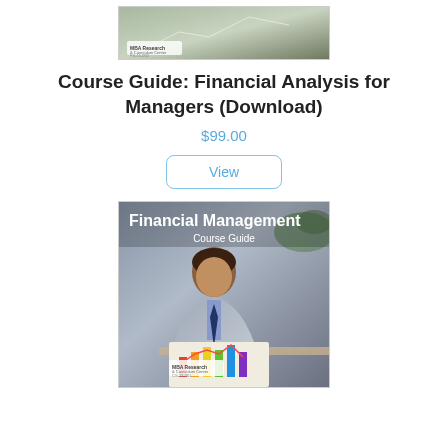[Figure (illustration): Book cover for 'Financial Analysis for Managers' course guide with MBA Research & Curriculum Center branding, showing financial charts/graphs background in green tones]
Course Guide: Financial Analysis for Managers (Download)
$99.00
View
[Figure (illustration): Book cover for 'Financial Management Course Guide' showing a professional man in grey suit working at a desk with colorful financial charts, MBA Research & Curriculum Center branding at bottom]